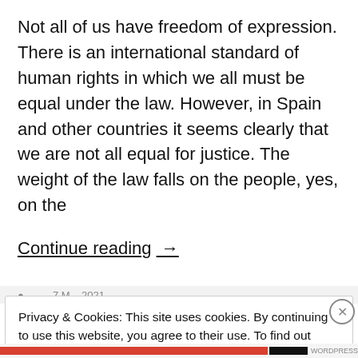Not all of us have freedom of expression. There is an international standard of human rights in which we all must be equal under the law. However, in Spain and other countries it seems clearly that we are not all equal for justice. The weight of the law falls on the people, yes, on the
Continue reading  →
Privacy & Cookies: This site uses cookies. By continuing to use this website, you agree to their use. To find out more, including how to control cookies, see here: Cookie Policy
Close and accept